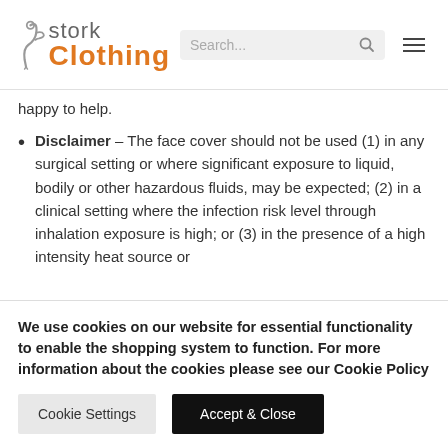[Figure (logo): Stork Clothing logo with stork bird SVG illustration and orange 'Clothing' text]
happy to help.
Disclaimer – The face cover should not be used (1) in any surgical setting or where significant exposure to liquid, bodily or other hazardous fluids, may be expected; (2) in a clinical setting where the infection risk level through inhalation exposure is high; or (3) in the presence of a high intensity heat source or
We use cookies on our website for essential functionality to enable the shopping system to function. For more information about the cookies please see our Cookie Policy
Cookie Settings   Accept & Close